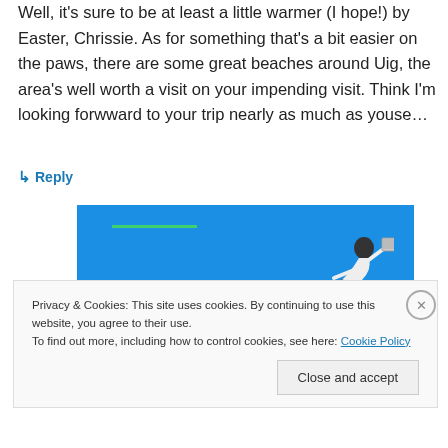Well, it's sure to be at least a little warmer (I hope!) by Easter, Chrissie. As for something that's a bit easier on the paws, there are some great beaches around Uig, the area's well worth a visit on your impending visit. Think I'm looking forwward to your trip nearly as much as youse…
↳ Reply
[Figure (photo): Blue background image with a man in a white shirt diving/leaping horizontally to the right holding a laptop, with a short green horizontal line in the upper left portion of the image.]
Privacy & Cookies: This site uses cookies. By continuing to use this website, you agree to their use.
To find out more, including how to control cookies, see here: Cookie Policy
Close and accept